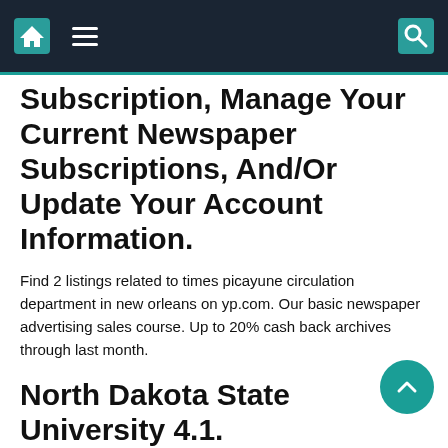Navigation bar with home icon, menu icon, and search icon
Subscription, Manage Your Current Newspaper Subscriptions, And/Or Update Your Account Information.
Find 2 listings related to times picayune circulation department in new orleans on yp.com. Our basic newspaper advertising sales course. Up to 20% cash back archives through last month.
North Dakota State University 4.1.
The times is the most popular by a landslide—it has over double the number of subscriptions than the second on the list, the washington post.yet, while wapo is no match